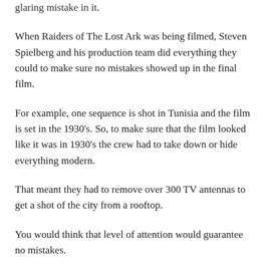glaring mistake in it.
When Raiders of The Lost Ark was being filmed, Steven Spielberg and his production team did everything they could to make sure no mistakes showed up in the final film.
For example, one sequence is shot in Tunisia and the film is set in the 1930's. So, to make sure that the film looked like it was in 1930's the crew had to take down or hide everything modern.
That meant they had to remove over 300 TV antennas to get a shot of the city from a rooftop.
You would think that level of attention would guarantee no mistakes.
But you'd be wrong.